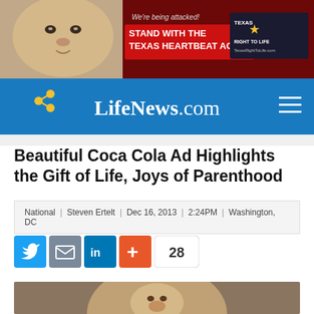[Figure (infographic): Advertisement banner: baby photo on left, red box with text 'STAND WITH THE TEXAS HEARTBEAT ACT', heartbeat line graphic, Texas Right to Life logo on right, dark red background]
[Figure (screenshot): LifeNews.com navigation bar, blue background, share icon on left, LifeNews.com logo in center, hamburger menu icon on right]
Beautiful Coca Cola Ad Highlights the Gift of Life, Joys of Parenthood
National | Steven Ertelt | Dec 16, 2013 | 2:24PM | Washington, DC
[Figure (infographic): Social share buttons: Twitter (blue), Email (grey), LinkedIn (blue), Plus/AddThis (orange), share count showing 28]
[Figure (photo): Partially visible photo at bottom, appears to be a person, warm tones]